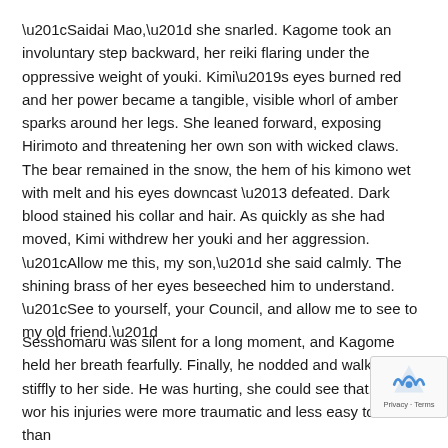“Saidai Mao,” she snarled. Kagome took an involuntary step backward, her reiki flaring under the oppressive weight of youki. Kimi’s eyes burned red and her power became a tangible, visible whorl of amber sparks around her legs. She leaned forward, exposing Hirimoto and threatening her own son with wicked claws. The bear remained in the snow, the hem of his kimono wet with melt and his eyes downcast – defeated. Dark blood stained his collar and hair. As quickly as she had moved, Kimi withdrew her youki and her aggression. “Allow me this, my son,” she said calmly. The shining brass of her eyes beseeched him to understand. “See to yourself, your Council, and allow me to see to my old friend.”
Sesshomaru was silent for a long moment, and Kagome held her breath fearfully. Finally, he nodded and walked stiffly to her side. He was hurting, she could see that, but the wounds his injuries were more traumatic and less easy to cure than